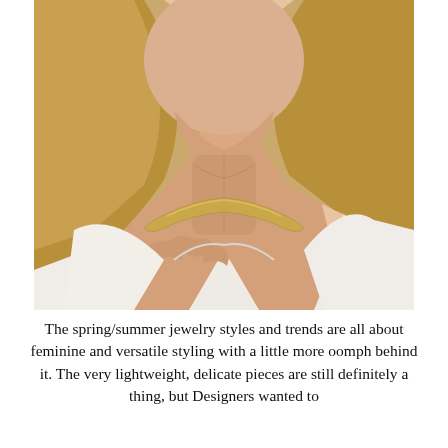[Figure (photo): Close-up photo of a woman with blonde hair wearing a gold herringbone choker necklace, dressed in a white linen top, touching her chest with one hand.]
The spring/summer jewelry styles and trends are all about feminine and versatile styling with a little more oomph behind it. The very lightweight, delicate pieces are still definitely a thing, but Designers wanted to